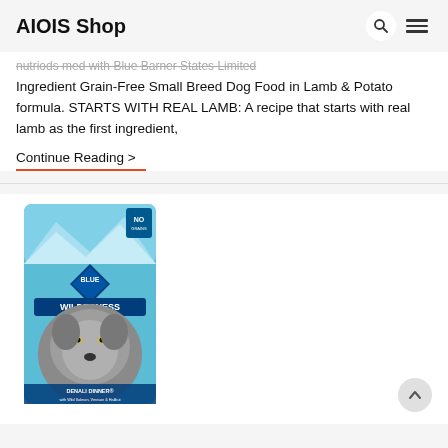AIOIS Shop
nutriods med with Blue Barner States Limited Ingredient Grain-Free Small Breed Dog Food in Lamb & Potato formula. STARTS WITH REAL LAMB: A recipe that starts with real lamb as the first ingredient,
Continue Reading >
[Figure (photo): Blue Wilderness Denali Dinner dog food bag featuring a wolf on the front, with text 'with Wild Salmon, Venison & Halibut']